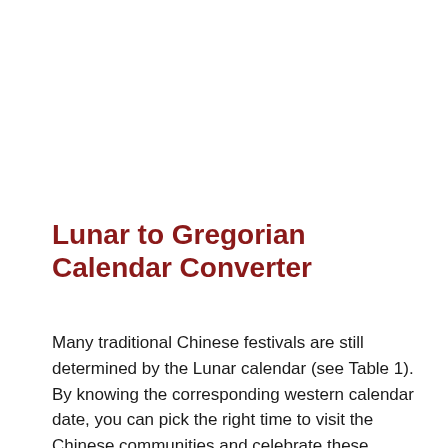Lunar to Gregorian Calendar Converter
Many traditional Chinese festivals are still determined by the Lunar calendar (see Table 1). By knowing the corresponding western calendar date, you can pick the right time to visit the Chinese communities and celebrate these festivals with the Chinese.